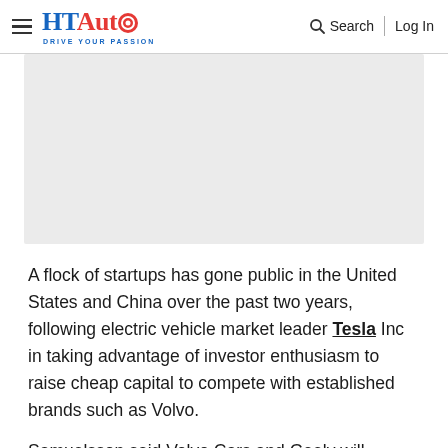HT Auto — Drive Your Passion | Search | Log In
[Figure (photo): A gray placeholder image area representing an article photo]
A flock of startups has gone public in the United States and China over the past two years, following electric vehicle market leader Tesla Inc in taking advantage of investor enthusiasm to raise cheap capital to compete with established brands such as Volvo.
Samuelsson said Volvo Cars and Geely will continue to share